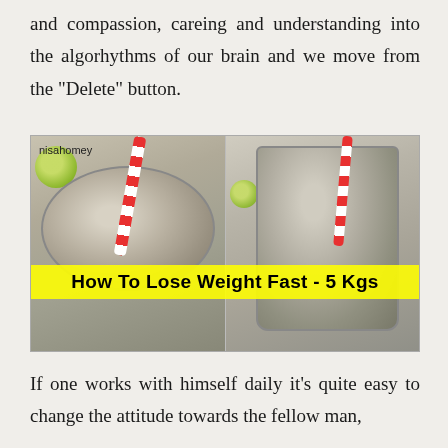and compassion, careing and understanding into the algorhythms of our brain and we move from the "Delete" button.
[Figure (photo): Two glasses/bowls containing chia seed drink with red and white striped straws and lime slices. Text overlay reads 'How To Lose Weight Fast - 5 Kgs'. Watermark reads 'nisahomey'.]
If one works with himself daily it's quite easy to change the attitude towards the fellow man,